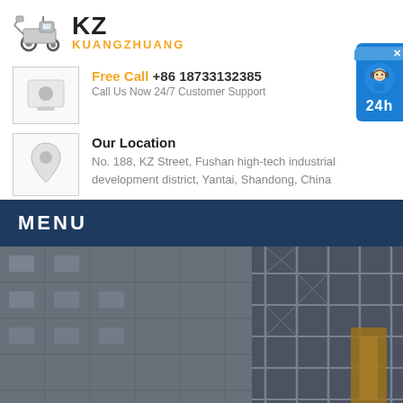[Figure (logo): KZ Kuangzhuang company logo with construction vehicle icon]
Free Call +86 18733132385
Call Us Now 24/7 Customer Support
Our Location
No. 188, KZ Street, Fushan high-tech industrial development district, Yantai, Shandong, China
MENU
[Figure (photo): Construction site photo showing building scaffolding and yellow crane equipment]